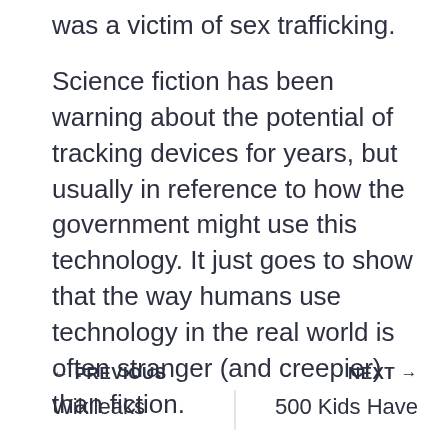was a victim of sex trafficking.
Science fiction has been warning about the potential of tracking devices for years, but usually in reference to how the government might use this technology. It just goes to show that the way humans use technology in the real world is often stranger (and creepier) than fiction.
← PREVIOUS
NEXT →
Wikileaks
500 Kids Have